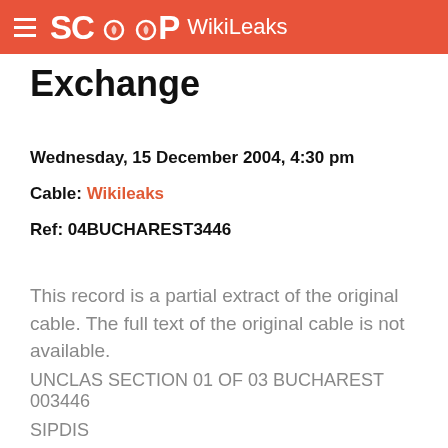SCOOP WikiLeaks
Exchange
Wednesday, 15 December 2004, 4:30 pm
Cable: Wikileaks
Ref: 04BUCHAREST3446
This record is a partial extract of the original cable. The full text of the original cable is not available.
UNCLAS SECTION 01 OF 03 BUCHAREST 003446
SIPDIS